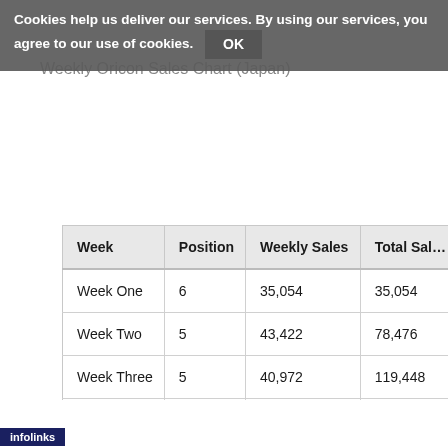Cookies help us deliver our services. By using our services, you agree to our use of cookies. OK
Weekly Oricon Sales Chart (Japan)
| Week | Position | Weekly Sales | Total Sales |
| --- | --- | --- | --- |
| Week One | 6 | 35,054 | 35,054 |
| Week Two | 5 | 43,422 | 78,476 |
| Week Three | 5 | 40,972 | 119,448 |
| Week Four | 14 | 33,994 | 160,420 |
| Week Five | 3 | 28,962 | 189,382 |